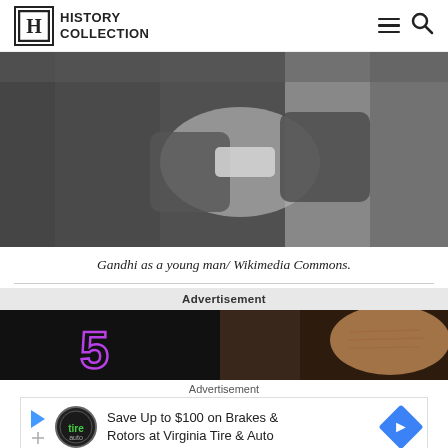History Collection
[Figure (photo): Black and white photograph of Gandhi as a young man, arms crossed, wearing a dark coat]
Gandhi as a young man/ Wikimedia Commons.
Advertisement
[Figure (photo): Advertisement banner showing a person's forehead and dark hair with a purple neon number 5 on dark background]
Advertisement
Save Up to $100 on Brakes & Rotors at Virginia Tire & Auto